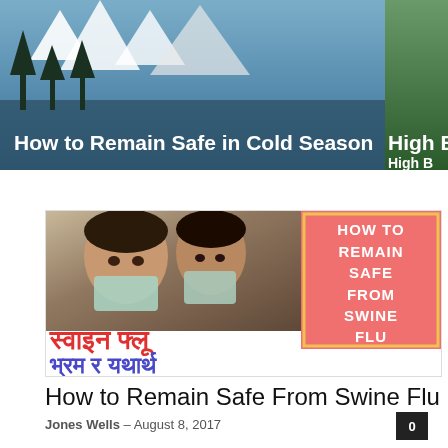[Figure (screenshot): Top navigation banner showing two article thumbnails: left thumbnail shows a snowy mountain/tree scene with text 'How to Remain Safe in Cold Season', right thumbnail partially visible showing 'High Bloo...']
[Figure (photo): Article feature image: two children wearing surgical face masks (left side photo), Hindi text in red and blue (स्वाइन फ्लू भ्रम र यथार्थ), and a pink/salmon colored box on the right with white bold text 'HOW TO REMAIN SAFE FROM SWINE FLU' with a yellow border]
How to Remain Safe From Swine Flu
Jones Wells – August 8, 2017
0